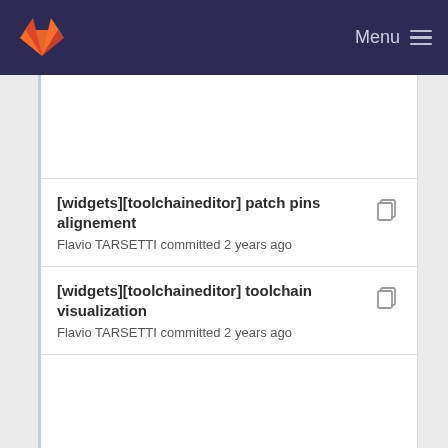Menu
[widgets][toolchaineditor] patch pins alignement
Flavio TARSETTI committed 2 years ago
[widgets][toolchaineditor] toolchain visualization
Flavio TARSETTI committed 2 years ago